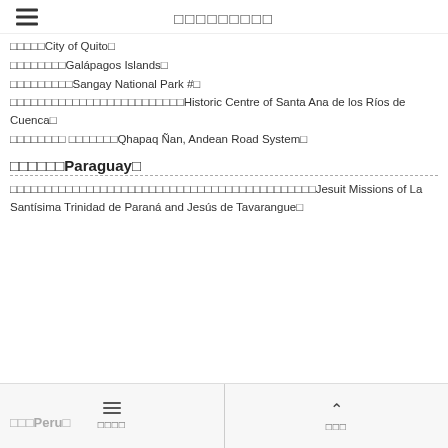□□□□□City of Quito□
□□□□□□□□Galápagos Islands□
□□□□□□□□□Sangay National Park #□
□□□□□□□□□□□□□□□□□□□□□□□□□Historic Centre of Santa Ana de los Ríos de Cuenca□
□□□□□□□□ □□□□□□□Qhapaq Ñan, Andean Road System□
□□□□□□Paraguay□
□□□□□□□□□□□□□□□□□□□□□□□□□□□□□□□□□□□□□□□□□□□□Jesuit Missions of La Santísima Trinidad de Paraná and Jesús de Tavarangue□
□□□Peru□